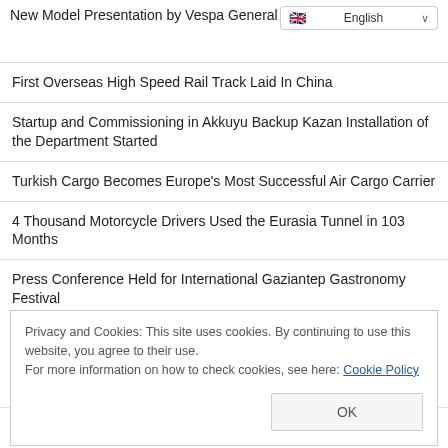New Model Presentation by Vespa General
First Overseas High Speed Rail Track Laid In China
Startup and Commissioning in Akkuyu Backup Kazan Installation of the Department Started
Turkish Cargo Becomes Europe's Most Successful Air Cargo Carrier
4 Thousand Motorcycle Drivers Used the Eurasia Tunnel in 103 Months
Press Conference Held for International Gaziantep Gastronomy Festival
Privacy and Cookies: This site uses cookies. By continuing to use this website, you agree to their use.
For more information on how to check cookies, see here: Cookie Policy
Compass Police Project